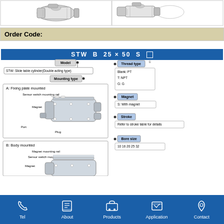[Figure (illustration): Two 3D rendered images of slide table cylinder (STW) products at the top of the page, side by side.]
Order Code:
STW B 25 x 50 S □
[Figure (engineering-diagram): Order code breakdown diagram for STW slide table cylinder showing: Model (STW: Slide table cylinder Double acting type), Mounting type (A: Fixing plate mounted, B: Body mounted with labeled parts: Sensor switch mounting rail, Magnet, Port, Plug), Thread type (Blank: PT, T: NPT, G: G) with superscript 1, Magnet (S: With magnet), Stroke (Refer to stroke table for details), Bore size (10 16 20 25 32).]
Tel  About  Products  Application  Contact